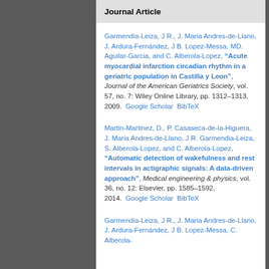Journal Article
Garmendia-Leiza, J R., J. Maria Andres-de-Llano, J. Ardura-Fernández, J B. Lopez-Messa, MD. Aguilar-Garcia, and C. Alberola-Lopez, "Acute myocardial infarction circadian rhythm in a geriatric population in Castilla y Leon", Journal of the American Geriatrics Society, vol. 57, no. 7: Wiley Online Library, pp. 1312–1313, 2009. Google Scholar BibTeX
Martin-Martinez, D., P. Casaseca-de-la-Higuera, J. Maria Andres-de-Llano, J R. Garmendia-Leiza, S. Alberola-Lopez, and C. Alberola-Lopez, "Automatic detection of wakefulness and rest intervals in actigraphic signals: A data-driven approach", Medical engineering & physics, vol. 36, no. 12: Elsevier, pp. 1585–1592, 2014. Google Scholar BibTeX
Garmendia-Leiza, J R., J. Maria Andres-de-Llano, J. Ardura-Fernández, J B. Lopez-Messa, C. Alberola-